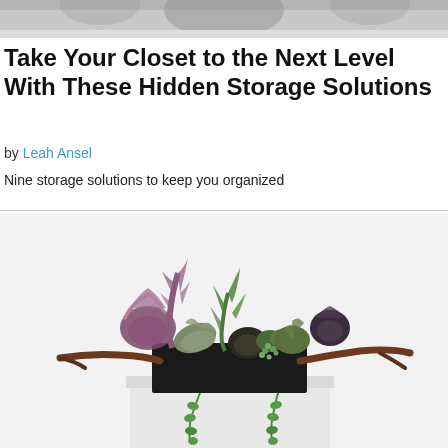[Figure (photo): Partial top banner photo showing a person in the background, cropped at top of page]
Take Your Closet to the Next Level With These Hidden Storage Solutions
by Leah Ansel
Nine storage solutions to keep you organized
[Figure (photo): A rectangular black planter box on a white pedestal, filled with various succulents and greenery, with a long driftwood branch extending across the arrangement on a white background]